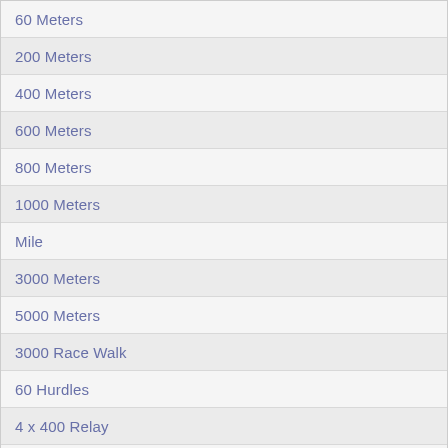60 Meters
200 Meters
400 Meters
600 Meters
800 Meters
1000 Meters
Mile
3000 Meters
5000 Meters
3000 Race Walk
60 Hurdles
4 x 400 Relay
4 x 800 Relay
Distance Medley Relay